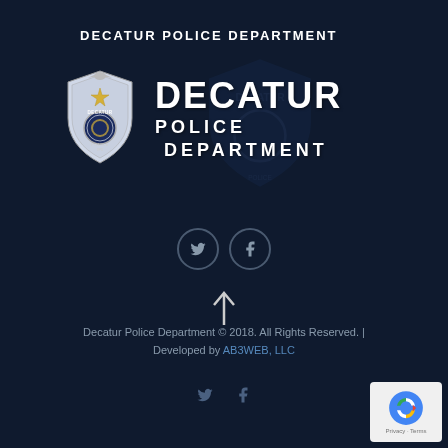DECATUR POLICE DEPARTMENT
[Figure (logo): Decatur Police Department badge (silver shield with gold star) next to text 'DECATUR POLICE DEPARTMENT' in bold white, with a faded blue shield watermark in the background]
[Figure (infographic): Two circular social media icon buttons (Twitter bird and Facebook f) with dark border on navy background]
[Figure (infographic): Upward arrow icon in white/light gray]
Decatur Police Department © 2018. All Rights Reserved. | Developed by AB3WEB, LLC
[Figure (infographic): Two small social media icons (Twitter and Facebook) in gray at bottom]
[Figure (logo): reCAPTCHA badge in bottom-right corner showing recycled arrows logo with 'Privacy - Terms' text]